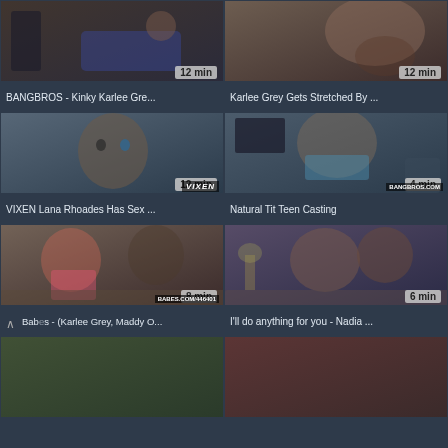[Figure (screenshot): Video thumbnail grid showing adult video content with titles and durations]
BANGBROS - Kinky Karlee Gre...
Karlee Grey Gets Stretched By ...
VIXEN Lana Rhoades Has Sex ...
Natural Tit Teen Casting
Babes - (Karlee Grey, Maddy O...
I'll do anything for you - Nadia ...